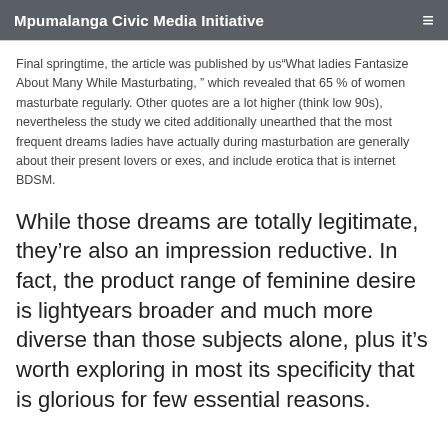Mpumalanga Civic Media Initiative
Final springtime, the article was published by us“What ladies Fantasize About Many While Masturbating, ” which revealed that 65 % of women masturbate regularly. Other quotes are a lot higher (think low 90s), nevertheless the study we cited additionally unearthed that the most frequent dreams ladies have actually during masturbation are generally about their present lovers or exes, and include erotica that is internet BDSM.
While those dreams are totally legitimate, they’re also an impression reductive. In fact, the product range of feminine desire is lightyears broader and much more diverse than those subjects alone, plus it’s worth exploring in most its specificity that is glorious for few essential reasons.